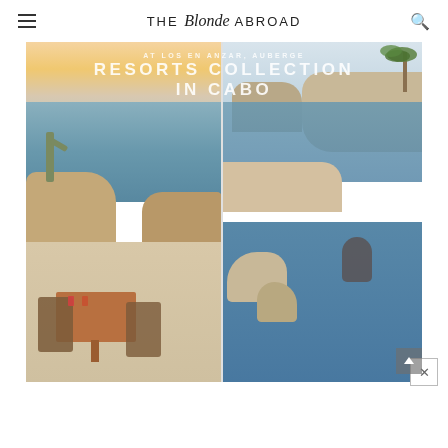THE Blonde ABROAD
[Figure (photo): Two-photo collage with text overlay. Left photo: outdoor dining table with wooden chairs overlooking rocky coast and ocean at sunset, with cacti and warm golden-pink sky. Right photo: couple embracing in an infinity pool or natural pool with rocky coastline and ocean in background. Overlay text reads: 'AT LOS EN ANZAR, AUBERGE RESORTS COLLECTION IN CABO']